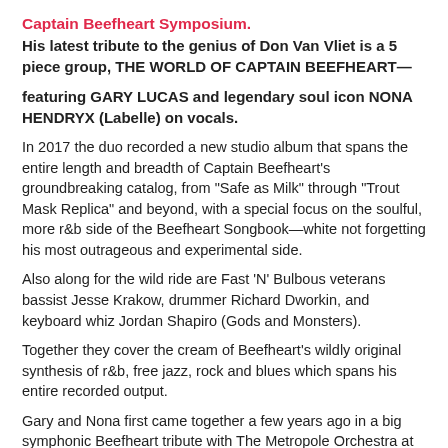Captain Beefheart Symposium.
His latest tribute to the genius of Don Van Vliet is a 5 piece group, THE WORLD OF CAPTAIN BEEFHEART—
featuring GARY LUCAS and legendary soul icon NONA HENDRYX (Labelle) on vocals.
In 2017 the duo recorded a new studio album that spans the entire length and breadth of Captain Beefheart's groundbreaking catalog, from "Safe as Milk" through "Trout Mask Replica" and beyond, with a special focus on the soulful, more r&b side of the Beefheart Songbook—white not forgetting his most outrageous and experimental side.
Also along for the wild ride are Fast 'N' Bulbous veterans bassist Jesse Krakow, drummer Richard Dworkin, and keyboard whiz Jordan Shapiro (Gods and Monsters).
Together they cover the cream of Beefheart's wildly original synthesis of r&b, free jazz, rock and blues which spans his entire recorded output.
Gary and Nona first came together a few years ago in a big symphonic Beefheart tribute with The Metropole Orchestra at Amsterdam's Paradiso, produced by Co de Kloet.